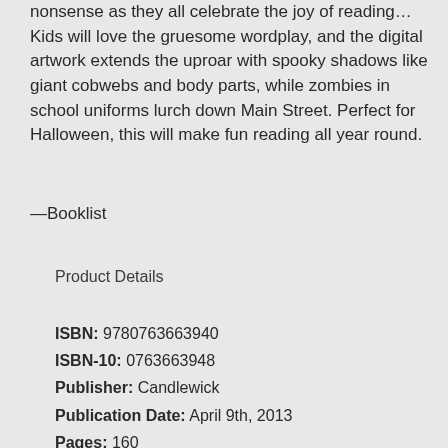nonsense as they all celebrate the joy of reading… Kids will love the gruesome wordplay, and the digital artwork extends the uproar with spooky shadows like giant cobwebs and body parts, while zombies in school uniforms lurch down Main Street. Perfect for Halloween, this will make fun reading all year round.
—Booklist
Product Details
ISBN: 9780763663940
ISBN-10: 0763663948
Publisher: Candlewick
Publication Date: April 9th, 2013
Pages: 160
Language: English